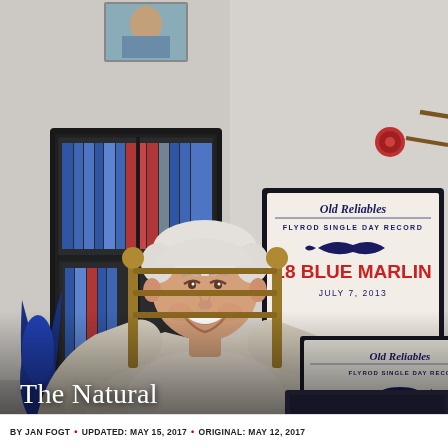[Figure (photo): An elderly white-haired man smiling while seated in a wooden rocking chair in an office. Behind him is a dark bookcase with books. On the wall hangs a framed sign reading 'Old Reliables FLYROD SINGLE DAY RECORD 18 BLUE MARLIN JULY 7, 2013'. A fishing spear/rod hangs on the upper right wall. On the left foreground is a blue marlin trophy sculpture. In the lower right corner, another partial 'Old Reliables FLYROD SINGLE DAY RECORD STRIPED M... OCTOBER...' sign is visible. The man wears a light beige/cream long-sleeve shirt.]
The Natural
BY JAN FOGT • UPDATED: MAY 15, 2017 • ORIGINAL: MAY 12, 2017